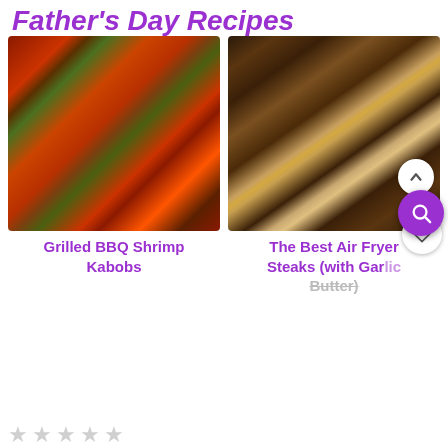Father's Day Recipes
[Figure (photo): Grilled BBQ shrimp kabobs on skewers with colorful vegetables including peppers, onions, and zucchini on a dark pan]
[Figure (photo): Air fryer steaks with pats of butter on top, cooking in a dark air fryer basket]
Grilled BBQ Shrimp Kabobs
The Best Air Fryer Steaks (with Garlic Butter)
★★★★★ (stars rating, unfilled)